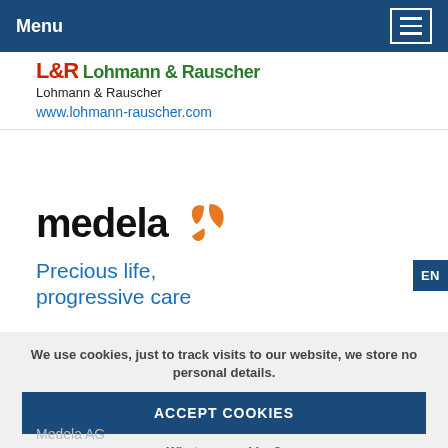Menu
[Figure (logo): Lohmann & Rauscher logo with red LR letters and green Lohmann & Rauscher text]
Lohmann & Rauscher
www.lohmann-rauscher.com
[Figure (logo): Medela logo: black bold 'medela' text with orange leaf/flower icon]
Precious life, progressive care
We use cookies, just to track visits to our website, we store no personal details.
ACCEPT COOKIES
What are cookies?
Medela AG